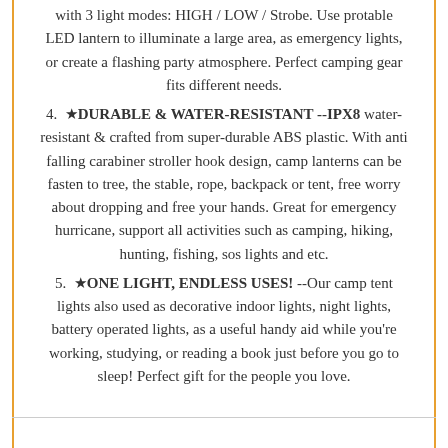with 3 light modes: HIGH / LOW / Strobe. Use protable LED lantern to illuminate a large area, as emergency lights, or create a flashing party atmosphere. Perfect camping gear fits different needs.
4. ★DURABLE & WATER-RESISTANT --IPX8 water-resistant & crafted from super-durable ABS plastic. With anti falling carabiner stroller hook design, camp lanterns can be fasten to tree, the stable, rope, backpack or tent, free worry about dropping and free your hands. Great for emergency hurricane, support all activities such as camping, hiking, hunting, fishing, sos lights and etc.
5. ★ONE LIGHT, ENDLESS USES! --Our camp tent lights also used as decorative indoor lights, night lights, battery operated lights, as a useful handy aid while you're working, studying, or reading a book just before you go to sleep! Perfect gift for the people you love.